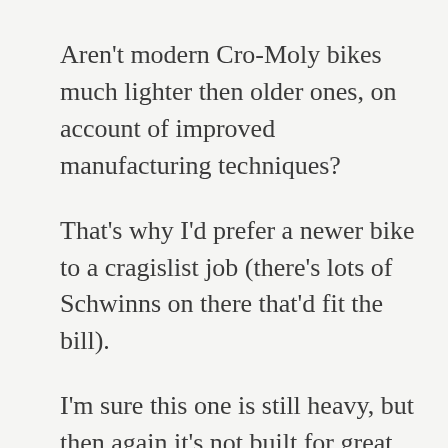…
Aren't modern Cro-Moly bikes much lighter then older ones, on account of improved manufacturing techniques?
That's why I'd prefer a newer bike to a cragislist job (there's lots of Schwinns on there that'd fit the bill).
I'm sure this one is still heavy, but then again it's not built for great speed or distance. It's be a real classy all-weather no-car